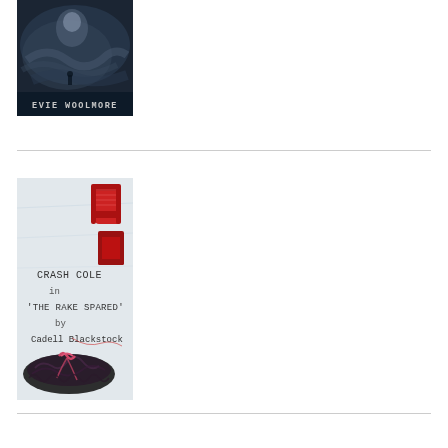[Figure (illustration): Book cover for a novel by Evie Woolmore. Dark atmospheric cover with ghostly/mystical imagery in dark blue-grey tones. Author name 'EVIE WOOLMORE' displayed at the bottom in typewriter-style monospace font.]
[Figure (illustration): Book cover titled 'CRASH COLE in THE RAKE SPARED by Cadell Blackstock'. Light background with a red spool of thread, and dark lacy lingerie. Text is in typewriter-style monospace font.]